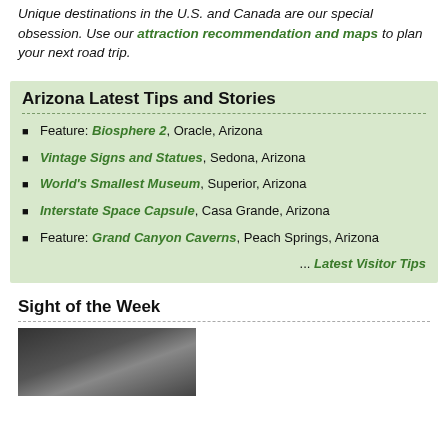Unique destinations in the U.S. and Canada are our special obsession. Use our attraction recommendation and maps to plan your next road trip.
Arizona Latest Tips and Stories
Feature: Biosphere 2, Oracle, Arizona
Vintage Signs and Statues, Sedona, Arizona
World's Smallest Museum, Superior, Arizona
Interstate Space Capsule, Casa Grande, Arizona
Feature: Grand Canyon Caverns, Peach Springs, Arizona
... Latest Visitor Tips
Sight of the Week
[Figure (photo): A dark photograph showing a vehicle or roadside attraction, partially visible at bottom of page]